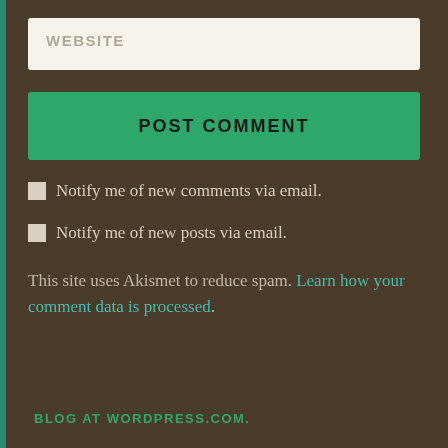[Figure (screenshot): Website URL input field with placeholder text WEBSITE on a light cream background]
[Figure (screenshot): POST COMMENT button in green with bold uppercase text]
Notify me of new comments via email.
Notify me of new posts via email.
This site uses Akismet to reduce spam. Learn how your comment data is processed.
BLOG AT WORDPRESS.COM.